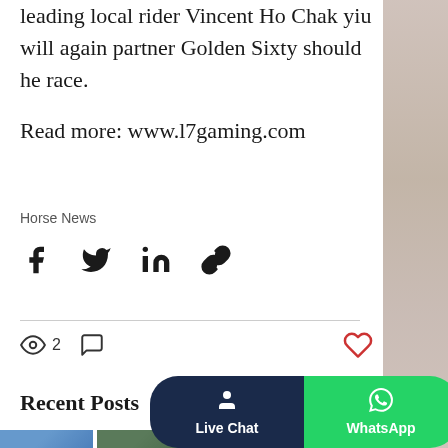leading local rider Vincent Ho Chak yiu will again partner Golden Sixty should he race.
Read more: www.l7gaming.com
Horse News
[Figure (infographic): Social share icons: Facebook, Twitter, LinkedIn, Link]
[Figure (infographic): Post stats: 2 views, comment icon, heart/like icon]
Recent Posts
See All
[Figure (photo): Thumbnail images of recent posts]
[Figure (infographic): Live Chat and WhatsApp buttons overlay]